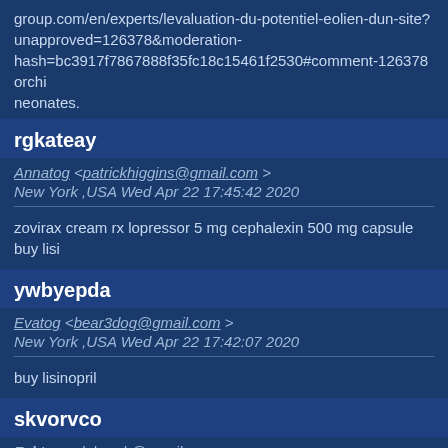group.com/en/experts/levaluation-du-potentiel-eolien-dun-site?unapproved=126378&moderation-hash=bc3917f7867888f35fc18c15461f2530#comment-126378 orchi neonates.
rgkateay
Annatog <patrickhiggins@gmail.com> New York ,USA Wed Apr 22 17:45:42 2020
zovirax cream rx lopressor 5 mg cephalexin 500 mg capsule buy lisi
ywbyepda
Evatog <bear3dog@gmail.com> New York ,USA Wed Apr 22 17:42:07 2020
buy lisinopril
skvorvco
Zaktog <debroah@gmail.com>